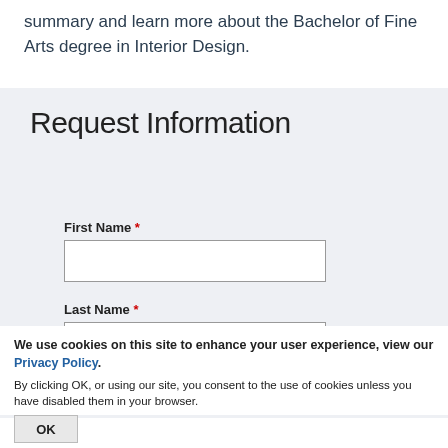summary and learn more about the Bachelor of Fine Arts degree in Interior Design.
Request Information
First Name *
Last Name *
We use cookies on this site to enhance your user experience, view our Privacy Policy.
By clicking OK, or using our site, you consent to the use of cookies unless you have disabled them in your browser.
OK